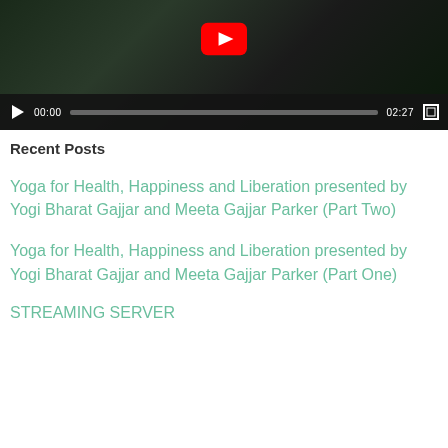[Figure (screenshot): Embedded YouTube video player showing a musician playing guitar with play/pause controls, timestamp 00:00 / 02:27, and fullscreen button]
Recent Posts
Yoga for Health, Happiness and Liberation presented by Yogi Bharat Gajjar and Meeta Gajjar Parker (Part Two)
Yoga for Health, Happiness and Liberation presented by Yogi Bharat Gajjar and Meeta Gajjar Parker (Part One)
STREAMING SERVER